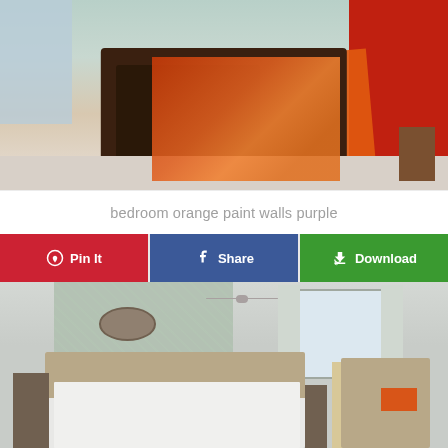[Figure (photo): Bedroom with dark wicker bed frame, orange geometric-patterned blanket, red/orange walls, and light carpet]
bedroom orange paint walls purple
[Figure (infographic): Action bar with three buttons: Pin It (red, Pinterest), Share (blue, Facebook), Download (green)]
[Figure (photo): Bedroom with patterned wallpaper, white bedding with orange accent pillows, ceiling fan, window with curtains, and armchair]